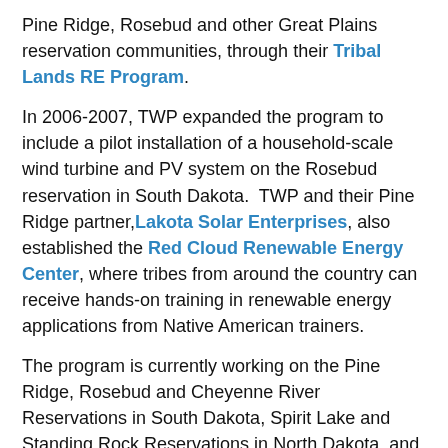Pine Ridge, Rosebud and other Great Plains reservation communities, through their Tribal Lands RE Program.
In 2006-2007, TWP expanded the program to include a pilot installation of a household-scale wind turbine and PV system on the Rosebud reservation in South Dakota.  TWP and their Pine Ridge partner, Lakota Solar Enterprises, also established the Red Cloud Renewable Energy Center, where tribes from around the country can receive hands-on training in renewable energy applications from Native American trainers.
The program is currently working on the Pine Ridge, Rosebud and Cheyenne River Reservations in South Dakota, Spirit Lake and Standing Rock Reservations in North Dakota, and with Winona LaDuke and the Honor the Earth organization on the White Earth and Red Lake Reservations in Minnesota.